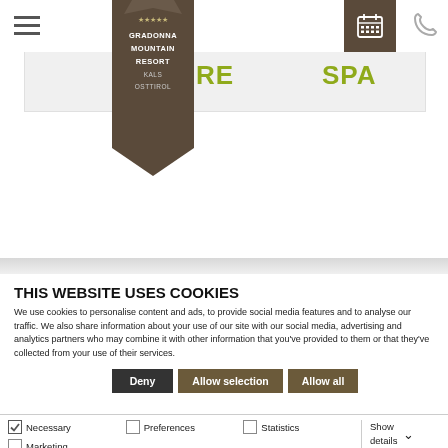[Figure (logo): Gradonna Mountain Resort logo - dark brown ribbon/pennant shape with white text: 5 stars, GRADONNA MOUNTAIN RESORT, KALS, OSTTIROL]
RE  SPA
THIS WEBSITE USES COOKIES
We use cookies to personalise content and ads, to provide social media features and to analyse our traffic. We also share information about your use of our site with our social media, advertising and analytics partners who may combine it with other information that you've provided to them or that they've collected from your use of their services.
Deny  Allow selection  Allow all
Necessary  Preferences  Statistics  Marketing  Show details